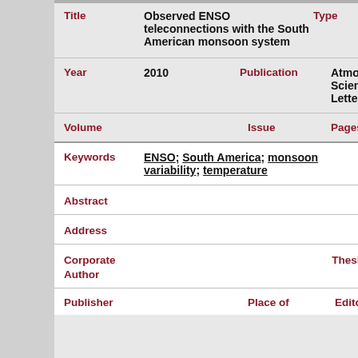| Field | Value | Field2 | Value2 | Field3 |
| --- | --- | --- | --- | --- |
| Title | Observed ENSO teleconnections with the South American monsoon system | Type |  |  |
| Year | 2010 | Publication | Atmospheric Science Letters | Abbrev Journal |
| Volume |  | Issue |  | Pages |
| Keywords | ENSO; South America; monsoon variability; temperature |  |  |  |
| Abstract |  |  |  |  |
| Address |  |  |  |  |
| Corporate Author |  |  |  | Thesis |
| Publisher |  | Place of |  | Editor |